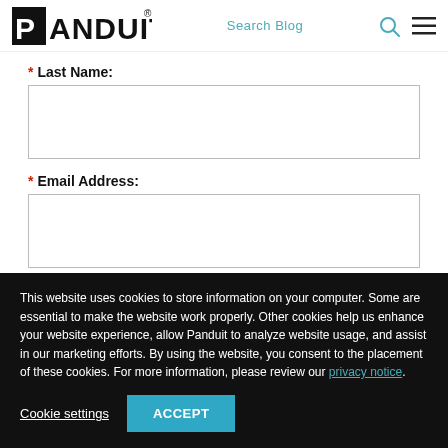[Figure (logo): Panduit logo with registered trademark symbol]
Search Blog
* Last Name:
* Email Address:
Submit
This website uses cookies to store information on your computer. Some are essential to make the website work properly. Other cookies help us enhance your website experience, allow Panduit to analyze website usage, and assist in our marketing efforts. By using the website, you consent to the placement of these cookies. For more information, please review our privacy notice.
Cookie settings
ACCEPT